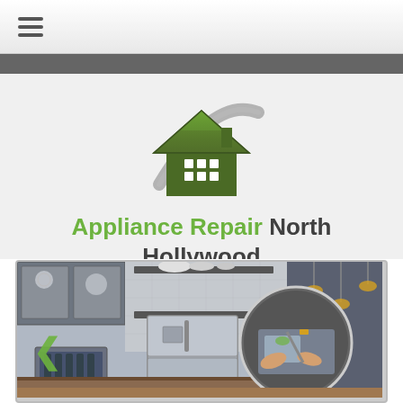☰ (hamburger menu)
[Figure (logo): House logo with green roof and white window grid, grey swoosh/arc around it — Appliance Repair North Hollywood logo]
Appliance Repair North Hollywood
818-647-1921
[Figure (photo): Photo of a modern kitchen with stainless steel appliances including a large refrigerator, dark grey cabinets with glass doors, wine cooler, pendant lights. A circular inset shows a technician repairing an appliance. A green left-arrow navigation button is visible on the left side of the image.]